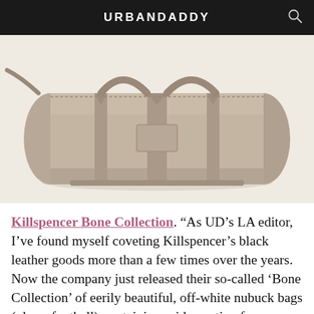URBANDADDY
[Figure (photo): A large tan/bone-colored nubuck leather duffel bag with leather handles and straps on a white background.]
Killspencer Bone Collection. “As UD’s LA editor, I’ve found myself coveting Killspencer’s black leather goods more than a few times over the years. Now the company just released their so-called ‘Bone Collection’ of eerily beautiful, off-white nubuck bags (plus a football), sustaining said coveting for